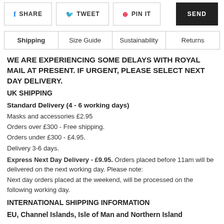SHARE  TWEET  PIN IT  SEND
Shipping  Size Guide  Sustainability  Returns
WE ARE EXPERIENCING SOME DELAYS WITH ROYAL MAIL AT PRESENT. IF URGENT, PLEASE SELECT NEXT DAY DELIVERY.
UK SHIPPING
Standard Delivery (4 - 6 working days)
Masks and accessories £2.95
Orders over £300 - Free shipping.
Orders under £300 - £4.95.
Delivery 3-6 days.
Express Next Day Delivery - £9.95. Orders placed before 11am will be delivered on the next working day. Please note:
Next day orders placed at the weekend, will be processed on the following working day.
INTERNATIONAL SHIPPING INFORMATION
EU, Channel Islands, Isle of Man and Northern Island